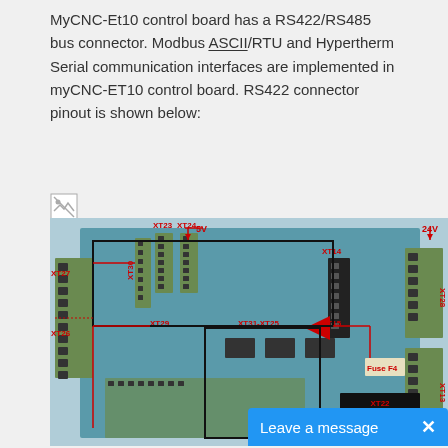MyCNC-Et10 control board has a RS422/RS485 bus connector. Modbus ASCII/RTU and Hypertherm Serial communication interfaces are implemented in myCNC-ET10 control board. RS422 connector pinout is shown below:
[Figure (photo): Broken image placeholder icon]
[Figure (engineering-diagram): MyCNC-ET10 control board photograph with red and black annotation lines showing connector labels: XT27, XT26 (left side), XT23, XT24, XT30, XT29 (top/center-left), XT14, XT15 (center-right), XT28, XT13 (right side), XT31-XT25 (center), Fuse F4, XT22 with labels 5V OUT, RS485 #1 B, RS485 #0 B. 5V arrow top-center, 24V arrow top-right.]
Leave a message  ×